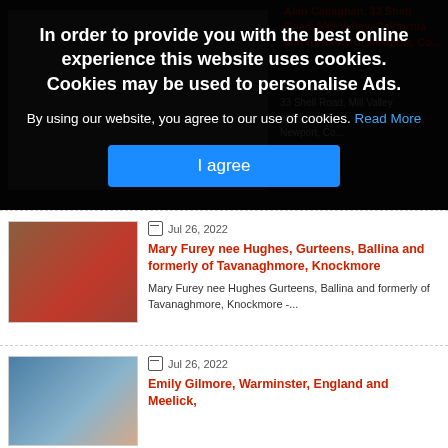[Figure (screenshot): Cookie consent banner overlay on a dark background with partially visible website content behind it. The banner contains a bold headline, subtext with a Read More link, and an 'I agree' button.]
In order to provide you with the best online experience this website uses cookies. Cookies may be used to personalise Ads.
By using our website, you agree to our use of cookies. Read More
I agree
Jul 26, 2022
Mary Furey nee Hughes, Gurteens, Ballina and formerly of Tavanaghmore, Knockmore
Mary Furey nee Hughes Gurteens, Ballina and formerly of Tavanaghmore, Knockmore -...
Jul 26, 2022
Emily Gilmore, Warminster, England and Meelick,